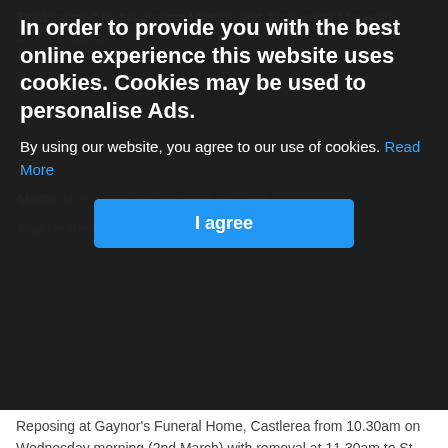Predeceased by his parents Michael and Jane; sister Maureen; br[others/sisters partially obscured]; Martin, sis[ters partially obscured] and [name].
May He Rest In Peace.
[Figure (screenshot): Cookie consent overlay banner with dark semi-transparent background. Title: 'In order to provide you with the best online experience this website uses cookies. Cookies may be used to personalise Ads.' Body text: 'By using our website, you agree to our use of cookies. Read More' (Read More in blue link). Blue 'I agree' button centered below.]
Reposing at Gaynor's Funeral Home, Castlerea from 10.30am on Wednesday morning (2nd March) with removal at 11.30am to St. Paul's Church, Kilmurray for Mass of the Resurrection at 12 noon. Burial afterward in Rathmoyle cemetery.
For those who wish to attend, but cannot, Tom's Funeral Mass can be viewed on Gaynor's Funeral Directors Facebook page on Wednesday morning.
If you wish to leave a message of condolence for Tom please do so by clicking here. Note that all messages are